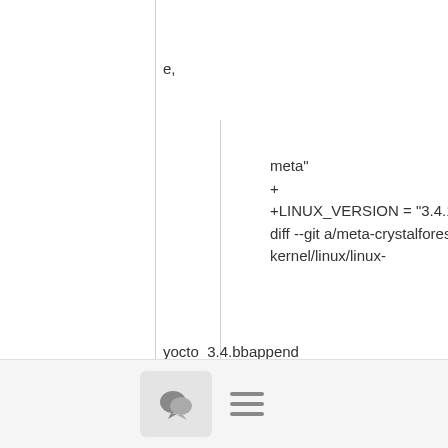e,
meta"
+
+LINUX_VERSION = "3.4.11"
diff --git a/meta-crystalforest/recipes-kernel/linux/linux-
yocto_3.4.bbappend
b/meta-crystalforest/recipes-kernel/linux/linux-yocto_3.4.bbappend
index 8418307..15ff21a 100644
--- a/meta-crystalforest/recipes-kernel/linux/linux-